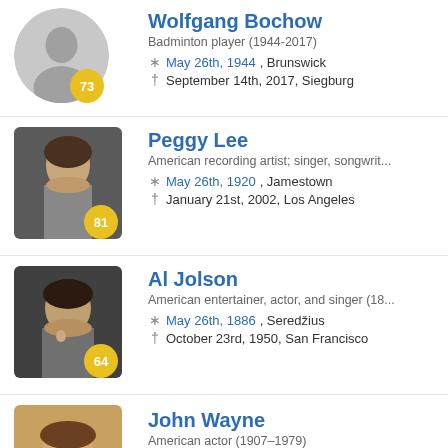[Figure (photo): Silhouette placeholder photo for Wolfgang Bochow with age badge 73]
Wolfgang Bochow
Badminton player (1944-2017)
* May 26th, 1944, Brunswick
† September 14th, 2017, Siegburg
[Figure (photo): Black and white photo of Peggy Lee with age badge 81]
Peggy Lee
American recording artist; singer, songwrit...
* May 26th, 1920, Jamestown
† January 21st, 2002, Los Angeles
[Figure (photo): Black and white photo of Al Jolson with age badge 64]
Al Jolson
American entertainer, actor, and singer (18...
* May 26th, 1886, Seredžius
† October 23rd, 1950, San Francisco
[Figure (photo): Color photo of John Wayne with age badge 72]
John Wayne
American actor (1907–1979)